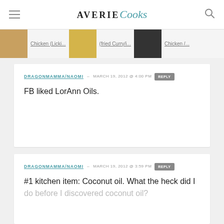AVERIE Cooks
[Figure (screenshot): Recipe strip showing food thumbnails with partial labels: Chicken (Licki..., (fried Curry..., Chicken...]
DRAGONMAMMA/NAOMI – MARCH 19, 2012 @ 4:00 PM  REPLY
FB liked LorAnn Oils.
DRAGONMAMMA/NAOMI – MARCH 19, 2012 @ 3:59 PM  REPLY
#1 kitchen item: Coconut oil. What the heck did I do before I discovered coconut oil?